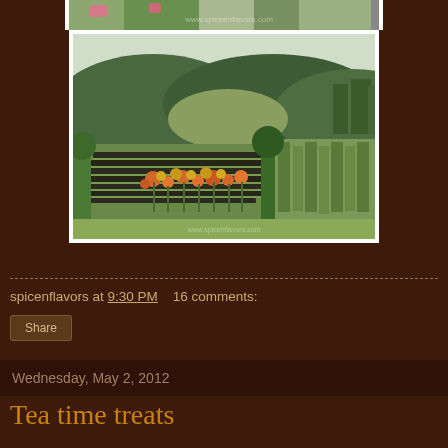[Figure (photo): Top portion of a garden/farm photo partially visible at the top of the page, with colorful flowers and greenery]
[Figure (photo): Farm landscape photo showing cultivated rows of crops/plants in the foreground with orange/red flowers, green trees, and rolling hills in the background under a light sky]
spicenflavors at 9:30 PM    16 comments:
Share
Wednesday, May 2, 2012
Tea time treats